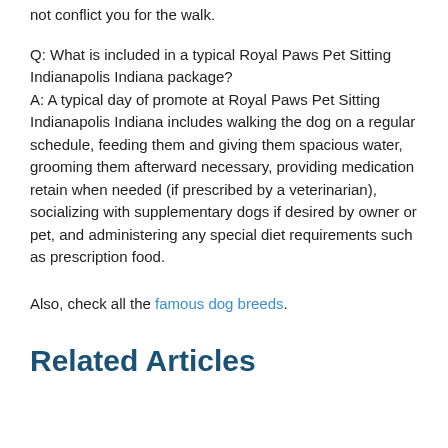not conflict you for the walk.
Q: What is included in a typical Royal Paws Pet Sitting Indianapolis Indiana package?
A: A typical day of promote at Royal Paws Pet Sitting Indianapolis Indiana includes walking the dog on a regular schedule, feeding them and giving them spacious water, grooming them afterward necessary, providing medication retain when needed (if prescribed by a veterinarian), socializing with supplementary dogs if desired by owner or pet, and administering any special diet requirements such as prescription food.
Also, check all the famous dog breeds.
Related Articles